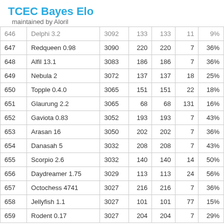TCEC Bayes Elo
maintained by Aloril
| # | Engine | Elo | err+ | err- | games | score |
| --- | --- | --- | --- | --- | --- | --- |
| 646 | Delphi 3.2 | 3092 | 133 | 133 | 11 | 9% |
| 647 | Redqueen 0.98 | 3090 | 220 | 220 | 7 | 36% |
| 648 | Alfil 13.1 | 3083 | 186 | 186 | 7 | 36% |
| 649 | Nebula 2 | 3072 | 137 | 137 | 18 | 25% |
| 650 | Topple 0.4.0 | 3065 | 151 | 151 | 22 | 18% |
| 651 | Glaurung 2.2 | 3065 | 68 | 68 | 131 | 16% |
| 652 | Gaviota 0.83 | 3052 | 193 | 193 | 7 | 43% |
| 653 | Arasan 16 | 3050 | 202 | 202 | 7 | 36% |
| 654 | Danasah 5 | 3032 | 208 | 208 | 7 | 43% |
| 655 | Scorpio 2.6 | 3032 | 140 | 140 | 14 | 50% |
| 656 | Daydreamer 1.75 | 3029 | 113 | 113 | 24 | 56% |
| 657 | Octochess 4741 | 3027 | 216 | 216 | 7 | 36% |
| 658 | Jellyfish 1.1 | 3027 | 101 | 101 | 77 | 15% |
| 659 | Rodent 0.17 | 3027 | 204 | 204 | 7 | 29% |